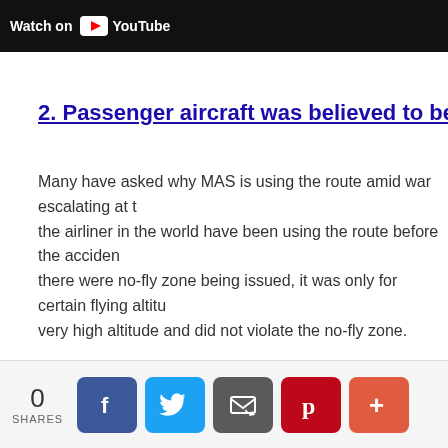[Figure (screenshot): Video thumbnail bar showing 'Watch on YouTube' branding on dark background]
2. Passenger aircraft was believed to be cruising at high altitude and did not violate the no-fly zone.
Many have asked why MAS is using the route amid war escalating at the area. Many of the airliner in the world have been using the route before the accident. Although there were no-fly zone being issued, it was only for certain flying altitude. MAS was flying at very high altitude and did not violate the no-fly zone.
0 SHARES — Share buttons: Facebook, Twitter, Email, Pinterest, More